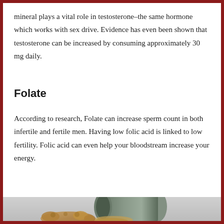mineral plays a vital role in testosterone–the same hormone which works with sex drive. Evidence has even been shown that testosterone can be increased by consuming approximately 30 mg daily.
Folate
According to research, Folate can increase sperm count in both infertile and fertile men. Having low folic acid is linked to low fertility. Folic acid can even help your bloodstream increase your energy.
[Figure (photo): A tin can tipped on its side spilling granular/powdery substance, with a piece of ginger root in the foreground, on a light gray background.]